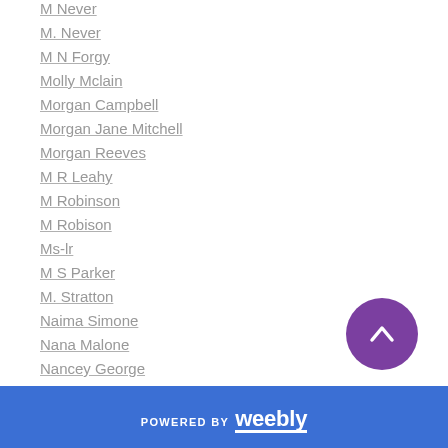M Never
M. Never
M N Forgy
Molly Mclain
Morgan Campbell
Morgan Jane Mitchell
Morgan Reeves
M R Leahy
M Robinson
M Robison
Ms-lr
M S Parker
M. Stratton
Naima Simone
Nana Malone
Nancey George
Nancy Haviland
POWERED BY weebly